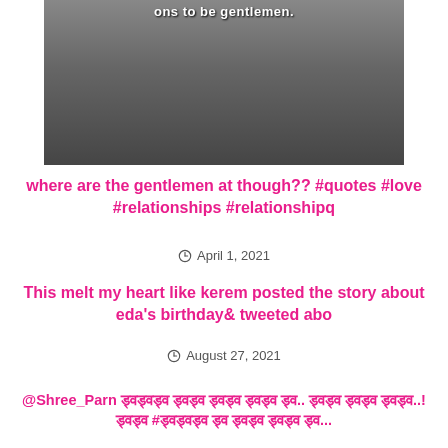[Figure (photo): Grayscale photo of a person with overlaid text at the top partially visible]
where are the gentlemen at though?? #quotes #love #relationships #relationshipq
April 1, 2021
This melt my heart like kerem posted the story about eda's birthday& tweeted abo
August 27, 2021
@Shree_Parn ड्वड्वड्व ड्वड्व ड्वड्व ड्वड्व ड्व.. ड्वड्व ड्वड्व ड्वड्व..! ड्वड्व #ड्वड्वड्व ड्व ड्वड्व ड्वड्व ड्व...